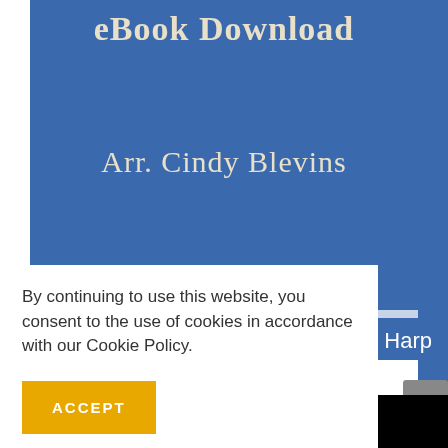[Figure (screenshot): Blue book cover with text 'eBook Download' at top and 'Arr. Cindy Blevins' in the middle, on a steel blue background with decorative serif font. A light stripe and darker blue band appear near the bottom with partial text '| Harp' visible.]
By continuing to use this website, you consent to the use of cookies in accordance with our Cookie Policy.
ACCEPT